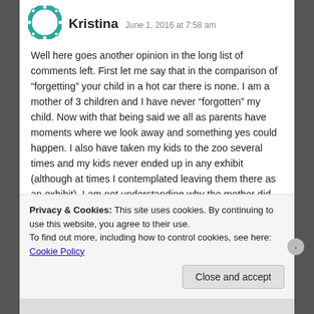[Figure (logo): Teal circular logo/avatar icon]
Kristina  June 1, 2016 at 7:58 am
Well here goes another opinion in the long list of comments left. First let me say that in the comparison of “forgetting” your child in a hot car there is none. I am a mother of 3 children and I have never “forgotten” my child. Now with that being said we all as parents have moments where we look away and something yes could happen. I also have taken my kids to the zoo several times and my kids never ended up in any exhibit (although at times I contemplated leaving them there as an exhibit). I am not understanding why the mother did not access the same things we did that the enclosure was not adequate. Perhaps
Privacy & Cookies: This site uses cookies. By continuing to use this website, you agree to their use.
To find out more, including how to control cookies, see here: Cookie Policy
Close and accept